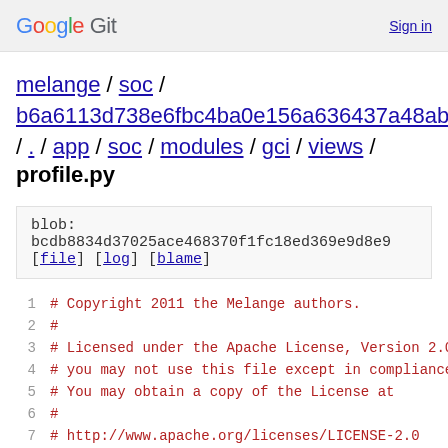Google Git  Sign in
melange / soc / b6a6113d738e6fbc4ba0e156a636437a48aba7a8 / ./ app / soc / modules / gci / views /
profile.py
blob: bcdb8834d37025ace468370f1fc18ed369e9d8e9
[file] [log] [blame]
1  # Copyright 2011 the Melange authors.
2  #
3  # Licensed under the Apache License, Version 2.0
4  # you may not use this file except in compliance
5  # You may obtain a copy of the License at
6  #
7  #    http://www.apache.org/licenses/LICENSE-2.0
8  #